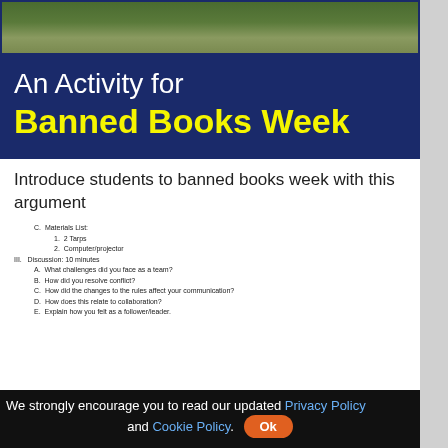[Figure (photo): Outdoor photo strip showing grass and a path, used as decorative header image]
An Activity for Banned Books Week
Introduce students to banned books week with this argument
[Figure (screenshot): Document preview showing outline items: C. Materials List (1. 2 Tarps, 2. Computer/projector), III. Discussion: 10 minutes (A. What challenges did you face as a team? B. How did you resolve conflict? C. How did the changes to the rules affect your communication? D. How does this relate to collaboration? E. Explain how you felt as a follower/leader)]
We strongly encourage you to read our updated Privacy Policy and Cookie Policy. Ok